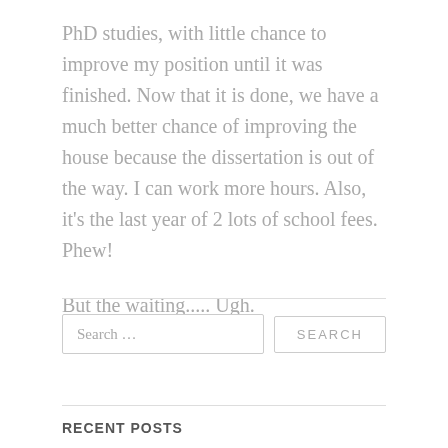PhD studies, with little chance to improve my position until it was finished. Now that it is done, we have a much better chance of improving the house because the dissertation is out of the way. I can work more hours. Also, it's the last year of 2 lots of school fees. Phew!
But the waiting..... Ugh.
RECENT POSTS